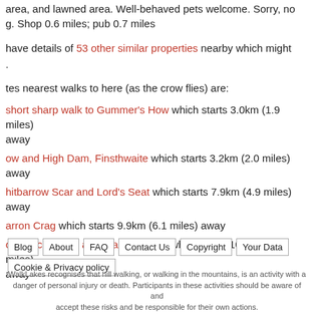area, and lawned area. Well-behaved pets welcome. Sorry, no g. Shop 0.6 miles; pub 0.7 miles
have details of 53 other similar properties nearby which might .
tes nearest walks to here (as the crow flies) are:
short sharp walk to Gummer's How which starts 3.0km (1.9 miles) away
ow and High Dam, Finsthwaite which starts 3.2km (2.0 miles) away
hitbarrow Scar and Lord's Seat which starts 7.9km (4.9 miles) away
arron Crag which starts 9.9km (6.1 miles) away
oss Eccles Tarn and Claife Heights which starts 10.4km (6.4 miles) away
Blog | About | FAQ | Contact Us | Copyright | Your Data | Cookie & Privacy policy
WalkLakes recognises that hill walking, or walking in the mountains, is an activity with a danger of personal injury or death. Participants in these activities should be aware of and accept these risks and be responsible for their own actions.